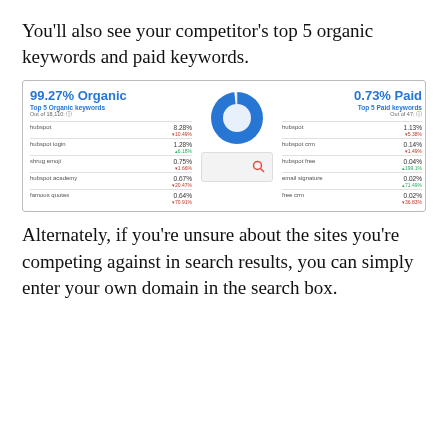You'll also see your competitor's top 5 organic keywords and paid keywords.
[Figure (screenshot): A screenshot of a competitor analysis tool showing 99.27% Organic and 0.73% Paid keyword breakdown with a donut/pie chart in the center, Top 5 Organic keywords (hubspot 8.28%, hubspot login 1.28%, shrug emoji 0.75%, hubspot academy 0.67%, famous quotes 0.64%) on the left and Top 5 Paid keywords (hubspot 1.13%, hubspot crm 0.14%, hubspot free 0.04%, email signature 0.02%, free crm 0.02%) on the right, and a search box overlay in the center.]
Alternately, if you're unsure about the sites you're competing against in search results, you can simply enter your own domain in the search box.